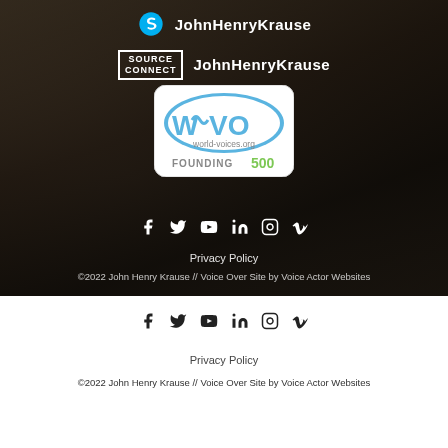[Figure (logo): Skype logo icon with text JohnHenryKrause]
JohnHenryKrause
[Figure (logo): Source Connect logo with text JohnHenryKrause]
JohnHenryKrause
[Figure (logo): WOVO world-voices.org Founding 500 badge]
[Figure (other): Social media icons: Facebook, Twitter, YouTube, LinkedIn, Instagram, Vimeo (dark background section)]
Privacy Policy
©2022 John Henry Krause // Voice Over Site by Voice Actor Websites
[Figure (other): Social media icons: Facebook, Twitter, YouTube, LinkedIn, Instagram, Vimeo (white background section)]
Privacy Policy
©2022 John Henry Krause // Voice Over Site by Voice Actor Websites